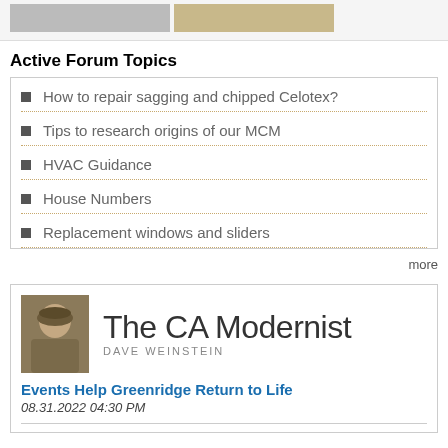[Figure (photo): Two thumbnail images side by side: a dark/grey image on the left and a wooden texture image on the right]
Active Forum Topics
How to repair sagging and chipped Celotex?
Tips to research origins of our MCM
HVAC Guidance
House Numbers
Replacement windows and sliders
more
[Figure (illustration): The CA Modernist banner with a sepia-toned portrait photo of Dave Weinstein wearing a cap, next to large text 'The CA Modernist' and 'DAVE WEINSTEIN']
Events Help Greenridge Return to Life
08.31.2022 04:30 PM